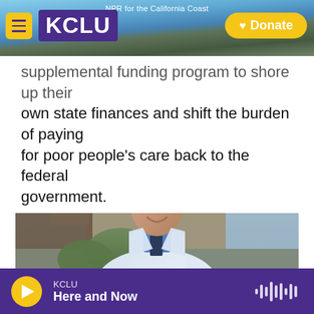KCLU — NPR for the California Coast
supplemental funding program to shore up their own state finances and shift the burden of paying for poor people's care back to the federal government.
[Figure (photo): A doctor in a white coat and blue shirt standing in front of a modern medical building, smiling at the camera.]
KCLU — Here and Now